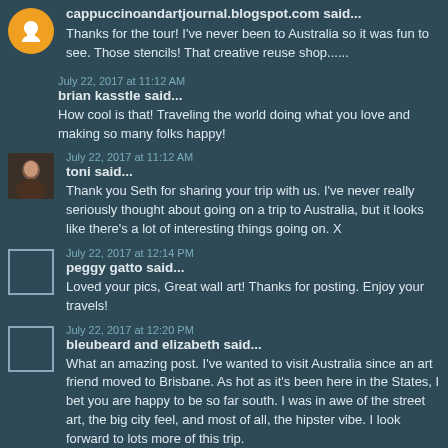cappuccinoandartjournal.blogspot.com said...
Thanks for the tour! I've never been to Australia so it was fun to see. Those stencils! That creative reuse shop......
July 22, 2017 at 11:12 AM
brian kasstle said...
How cool is that! Traveling the world doing what you love and making so many folks happy!
July 22, 2017 at 11:12 AM
toni said...
Thank you Seth for sharing your trip with us. I've never really seriously thought about going on a trip to Australia, but it looks like there's a lot of interesting things going on. X
July 22, 2017 at 12:14 PM
peggy gatto said...
Loved your pics, Great wall art! Thanks for posting. Enjoy your travels!
July 22, 2017 at 12:20 PM
bleubeard and elizabeth said...
What an amazing post. I've wanted to visit Australia since an art friend moved to Brisbane. As hot as it's been here in the States, I bet you are happy to be so far south. I was in awe of the street art, the big city feel, and most of all, the hipster vibe. I look forward to lots more of this trip.
July 22, 2017 at 3:56 PM